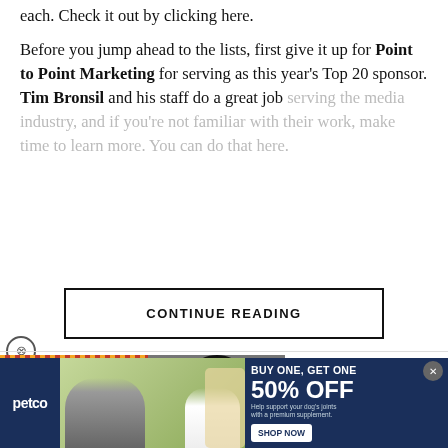each. Check it out by clicking here.
Before you jump ahead to the lists, first give it up for Point to Point Marketing for serving as this year's Top 20 sponsor. Tim Bronsil and his staff do a great job serving the media industry, and if you're not familiar with their work, make time to learn more. You can do that here.
CONTINUE READING
[Figure (screenshot): The Producers Podcast video widget with host thumbnail and play button]
[Figure (screenshot): Petco advertisement banner: BUY ONE, GET ONE 50% OFF - Help support your dog's joints with a premium supplement. SHOP NOW button.]